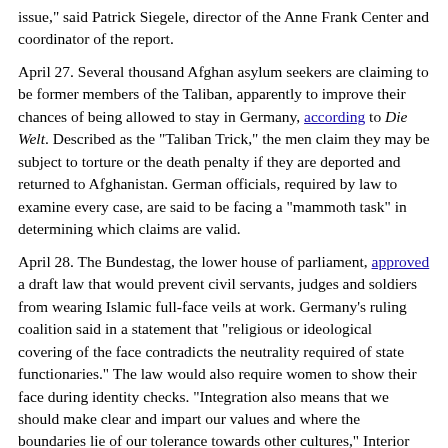issue," said Patrick Siegele, director of the Anne Frank Center and coordinator of the report.
April 27. Several thousand Afghan asylum seekers are claiming to be former members of the Taliban, apparently to improve their chances of being allowed to stay in Germany, according to Die Welt. Described as the "Taliban Trick," the men claim they may be subject to torture or the death penalty if they are deported and returned to Afghanistan. German officials, required by law to examine every case, are said to be facing a "mammoth task" in determining which claims are valid.
April 28. The Bundestag, the lower house of parliament, approved a draft law that would prevent civil servants, judges and soldiers from wearing Islamic full-face veils at work. Germany's ruling coalition said in a statement that "religious or ideological covering of the face contradicts the neutrality required of state functionaries." The law would also require women to show their face during identity checks. "Integration also means that we should make clear and impart our values and where the boundaries lie of our tolerance towards other cultures," Interior Minister Thomas de Maizière said.
April 29. Interior Minister De Maizière generated a firestorm of criticism after he wrote an article, published by Bild, calling on